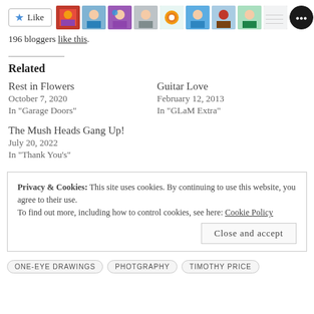[Figure (other): Like button with star icon and row of blogger avatar photos, 196 bloggers like this]
196 bloggers like this.
Related
Rest in Flowers
October 7, 2020
In "Garage Doors"
Guitar Love
February 12, 2013
In "GLaM Extra"
The Mush Heads Gang Up!
July 20, 2022
In "Thank You's"
Privacy & Cookies: This site uses cookies. By continuing to use this website, you agree to their use.
To find out more, including how to control cookies, see here: Cookie Policy
Close and accept
ONE-EYE DRAWINGS   PHOTGRAPHY   TIMOTHY PRICE